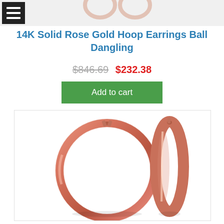[Figure (photo): Partial top image of rose gold ball dangling earrings, cropped at top of page]
14K Solid Rose Gold Hoop Earrings Ball Dangling
$846.69 $232.38
Add to cart
[Figure (photo): 14K solid rose gold hoop earrings shown from two angles: front view of circular hoop and side profile view, photographed on white background]